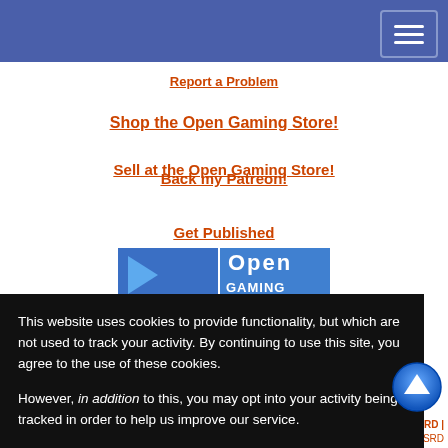Report a Problem
Shop the Open Gaming Store!
Sell at the Open Gaming Store!
Back my Patreon!
Get Published
[Figure (logo): Open Gaming logo in blue and white]
This website uses cookies to provide functionality, but which are not used to track your activity. By continuing to use this site, you agree to the use of these cookies.

However, in addition to this, you may opt into your activity being tracked in order to help us improve our service.

For more information, please click here
OK | No, thank you
SRD | Dungeon World SRD | FateCoreSRD | ...SRD | OGN Articles | Fudge SRD | Hero By Monster | d20 Anime SRD